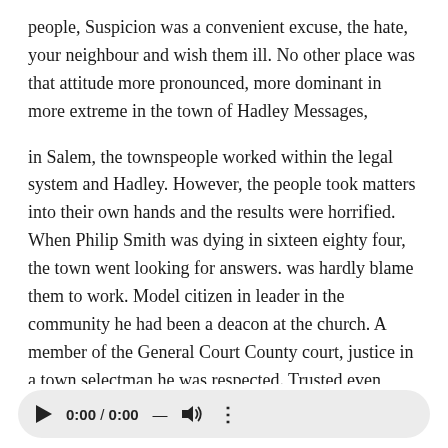people, Suspicion was a convenient excuse, the hate, your neighbour and wish them ill. No other place was that attitude more pronounced, more dominant in more extreme in the town of Hadley Messages,
in Salem, the townspeople worked within the legal system and Hadley. However, the people took matters into their own hands and the results were horrified. When Philip Smith was dying in sixteen eighty four, the town went looking for answers. was hardly blame them to work. Model citizen in leader in the community he had been a deacon at the church. A member of the General Court County court, justice in a town selectman he was respected. Trusted even while mud, the sole suspect in the crime, was an old woman named Mary Webster, she and
[Figure (other): Audio player bar showing play button, timestamp 0:00 / 0:00, dash separator, volume icon, and more options (three dots) icon]